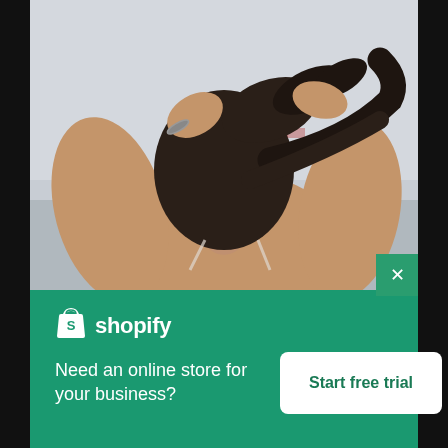[Figure (photo): Woman seen from behind, holding her dark hair up in a ponytail, near a body of water with a pink/orange structure in the background, overcast sky.]
[Figure (logo): Shopify logo — white shopping bag icon with 'S' and white wordmark text 'shopify' on green background]
Need an online store for your business?
Start free trial